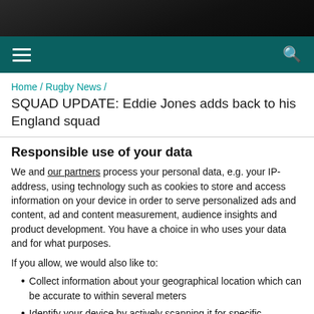[Figure (photo): Dark photo header image at top of page]
Navigation bar with hamburger menu and search icon on teal/dark green background
Home / Rugby News /
SQUAD UPDATE: Eddie Jones adds back to his England squad
Responsible use of your data
We and our partners process your personal data, e.g. your IP-address, using technology such as cookies to store and access information on your device in order to serve personalized ads and content, ad and content measurement, audience insights and product development. You have a choice in who uses your data and for what purposes.
If you allow, we would also like to:
Collect information about your geographical location which can be accurate to within several meters
Identify your device by actively scanning it for specific characteristics (fingerprinting)
Find out more about how your personal data is processed and set your preferences in the details section. You can change or withdraw your consent any time from the Cookie Declaration.